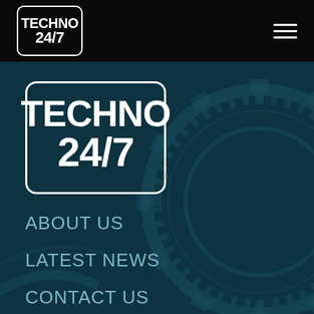TECHNO 24/7
[Figure (logo): Techno 24/7 logo - large centered version on teal/dark background]
ABOUT US
LATEST NEWS
CONTACT US